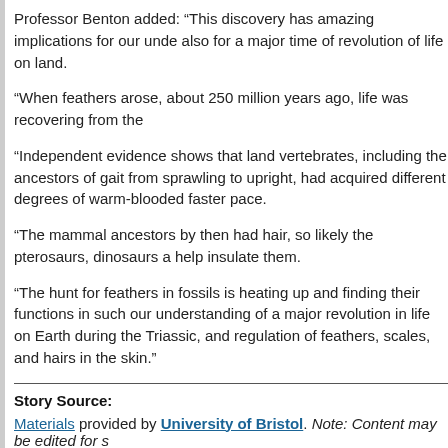Professor Benton added: “This discovery has amazing implications for our unde... also for a major time of revolution of life on land.
“When feathers arose, about 250 million years ago, life was recovering from the...
“Independent evidence shows that land vertebrates, including the ancestors of... gait from sprawling to upright, had acquired different degrees of warm-blooded... faster pace.
“The mammal ancestors by then had hair, so likely the pterosaurs, dinosaurs a... help insulate them.
“The hunt for feathers in fossils is heating up and finding their functions in such... our understanding of a major revolution in life on Earth during the Triassic, and... regulation of feathers, scales, and hairs in the skin.”
Story Source:
Materials provided by University of Bristol. Note: Content may be edited for s...
FILED UNDER FOSSIL NEWS · TAGGED WITH DINOSAURS, FEATHERS
‘Treasure trove’ of dinosaur footprints found in sout...